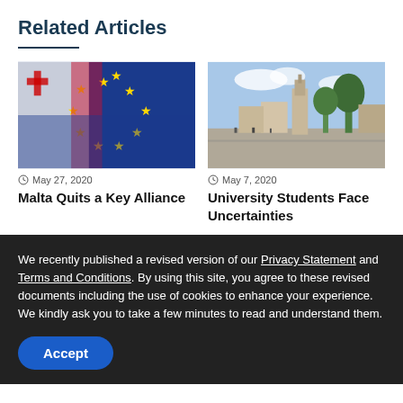Related Articles
[Figure (photo): Malta and EU flags draped together]
May 27, 2020
Malta Quits a Key Alliance
[Figure (photo): City plaza with palm trees and a historic tower]
May 7, 2020
University Students Face Uncertainties
We recently published a revised version of our Privacy Statement and Terms and Conditions. By using this site, you agree to these revised documents including the use of cookies to enhance your experience. We kindly ask you to take a few minutes to read and understand them.